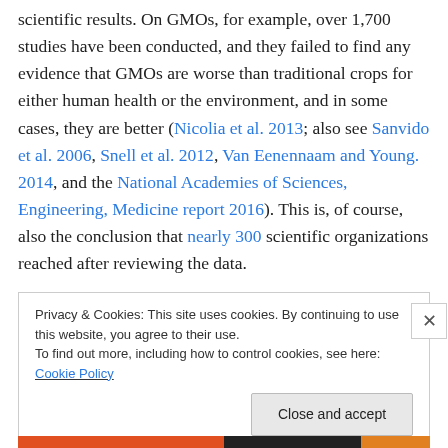scientific results. On GMOs, for example, over 1,700 studies have been conducted, and they failed to find any evidence that GMOs are worse than traditional crops for either human health or the environment, and in some cases, they are better (Nicolia et al. 2013; also see Sanvido et al. 2006, Snell et al. 2012, Van Eenennaam and Young. 2014, and the National Academies of Sciences, Engineering, Medicine report 2016). This is, of course, also the conclusion that nearly 300 scientific organizations reached after reviewing the data.
Privacy & Cookies: This site uses cookies. By continuing to use this website, you agree to their use.
To find out more, including how to control cookies, see here: Cookie Policy